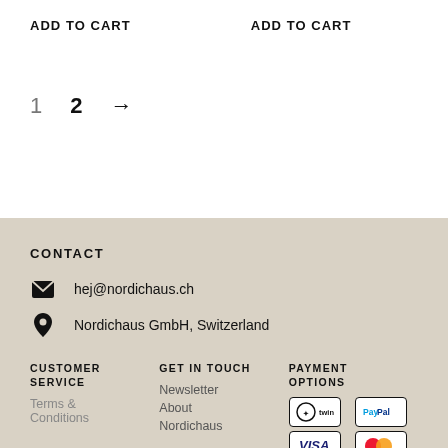ADD TO CART
ADD TO CART
1  2  →
CONTACT
hej@nordichaus.ch
Nordichaus GmbH, Switzerland
CUSTOMER SERVICE
GET IN TOUCH
PAYMENT OPTIONS
Terms & Conditions
Newsletter
About
Nordichaus
[Figure (other): Payment badges: Twint, PayPal, Visa, Mastercard]